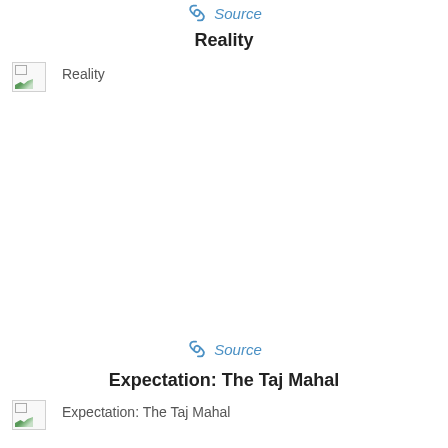🔗 Source
Reality
[Figure (photo): Broken image placeholder with alt text 'Reality']
Reality
🔗 Source
Expectation: The Taj Mahal
[Figure (photo): Broken image placeholder with alt text 'Expectation: The Taj Mahal']
Expectation: The Taj Mahal